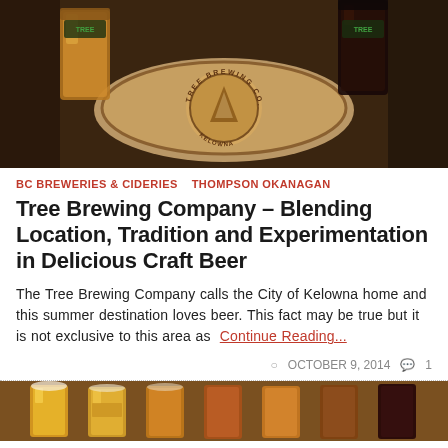[Figure (photo): Photo of Tree Brewing Company branded wooden serving platter with beer flight glasses, logo visible in center]
BC BREWERIES & CIDERIES   THOMPSON OKANAGAN
Tree Brewing Company – Blending Location, Tradition and Experimentation in Delicious Craft Beer
The Tree Brewing Company calls the City of Kelowna home and this summer destination loves beer. This fact may be true but it is not exclusive to this area as  Continue Reading...
OCTOBER 9, 2014   1
[Figure (photo): Photo of multiple beer flight glasses with various beer colors ranging from golden to dark brown/amber]